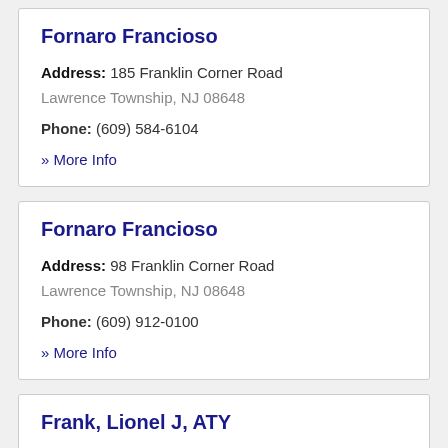Fornaro Francioso
Address: 185 Franklin Corner Road Lawrence Township, NJ 08648
Phone: (609) 584-6104
» More Info
Fornaro Francioso
Address: 98 Franklin Corner Road Lawrence Township, NJ 08648
Phone: (609) 912-0100
» More Info
Frank, Lionel J, ATY